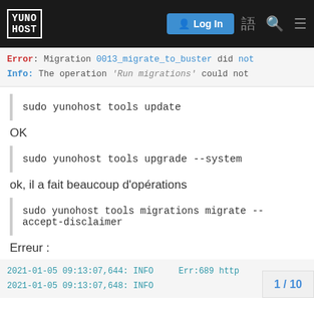YunoHost — Log In
Error: Migration 0013_migrate_to_buster did not
Info: The operation 'Run migrations' could not
sudo yunohost tools update
OK
sudo yunohost tools upgrade --system
ok, il a fait beaucoup d'opérations
sudo yunohost tools migrations migrate --accept-disclaimer
Erreur :
2021-01-05 09:13:07,644:  INFO      Err:689 http
2021-01-05 09:13:07,648:  INFO
1 / 10